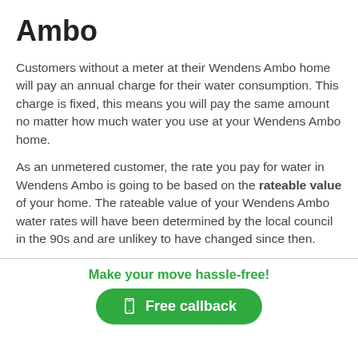Ambo
Customers without a meter at their Wendens Ambo home will pay an annual charge for their water consumption. This charge is fixed, this means you will pay the same amount no matter how much water you use at your Wendens Ambo home.
As an unmetered customer, the rate you pay for water in Wendens Ambo is going to be based on the rateable value of your home. The rateable value of your Wendens Ambo water rates will have been determined by the local council in the 90s and are unlikey to have changed since then.
Make your move hassle-free!
Free callback